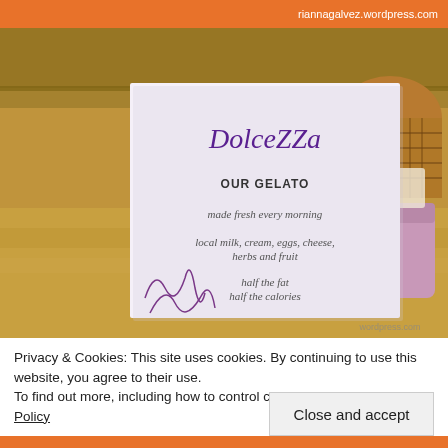riannagalvez.wordpress.com
[Figure (photo): Photo of a Dolcezza gelato shop menu card on a marble counter. The white card reads 'DolceZZa' in purple script at the top, then 'OUR GELATO' in bold, followed by italic text: 'made fresh every morning', 'local milk, cream, eggs, cheese, herbs and fruit', 'half the fat half the calories'. A pink Dolcezza cup is visible in the background along with a wicker basket.]
Privacy & Cookies: This site uses cookies. By continuing to use this website, you agree to their use.
To find out more, including how to control cookies, see here: Cookie Policy
Close and accept